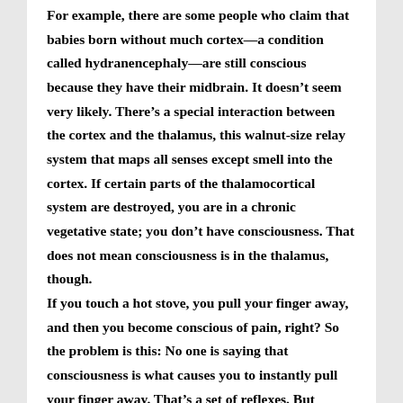For example, there are some people who claim that babies born without much cortex—a condition called hydranencephaly—are still conscious because they have their midbrain. It doesn't seem very likely. There's a special interaction between the cortex and the thalamus, this walnut-size relay system that maps all senses except smell into the cortex. If certain parts of the thalamocortical system are destroyed, you are in a chronic vegetative state; you don't have consciousness. That does not mean consciousness is in the thalamus, though. If you touch a hot stove, you pull your finger away, and then you become conscious of pain, right? So the problem is this: No one is saying that consciousness is what causes you to instantly pull your finger away. That's a set of reflexes. But consciousness sure gives you a lesson, doesn't it?